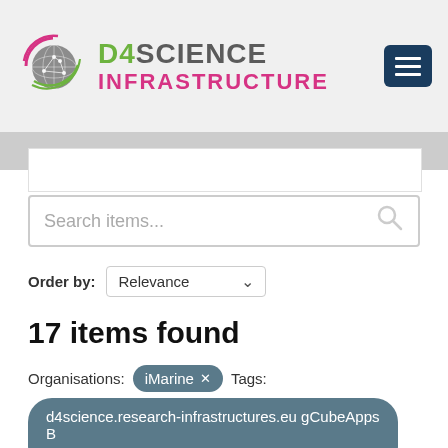[Figure (logo): D4Science Infrastructure logo with globe icon, green D4SCIENCE text and pink INFRASTRUCTURE text]
Search items...
Order by: Relevance
17 items found
Organisations: iMarine ×  Tags:
d4science.research-infrastructures.eu gCubeApps B ×